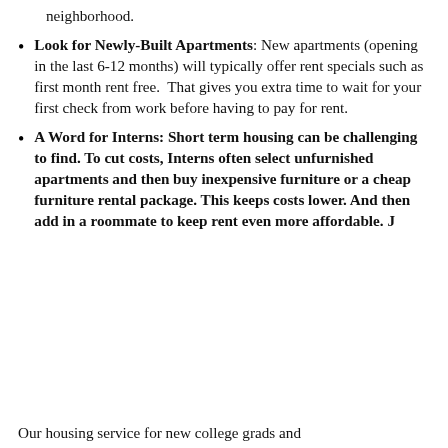neighborhood.
Look for Newly-Built Apartments: New apartments (opening in the last 6-12 months) will typically offer rent specials such as first month rent free.  That gives you extra time to wait for your first check from work before having to pay for rent.
A Word for Interns:  Short term housing can be challenging to find. To cut costs, Interns often select unfurnished apartments and then buy inexpensive furniture or a cheap furniture rental package. This keeps costs lower. And then add in a roommate to keep rent even more affordable. J
Our housing service for new college grads and